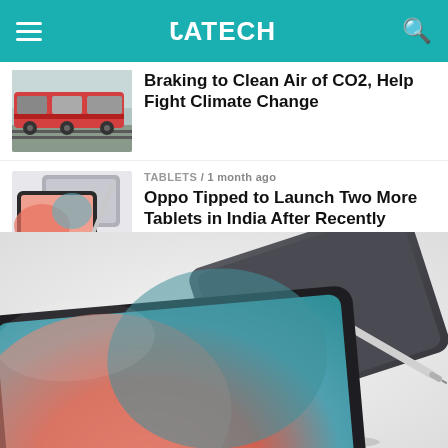JATECH
Braking to Clean Air of CO2, Help Fight Climate Change
TABLETS / 1 month ago
Oppo Tipped to Launch Two More Tablets in India After Recently Unveiling Oppo Pad Air
[Figure (photo): Oppo tablet and stylus pen product photo showing two tablets with a stylus]